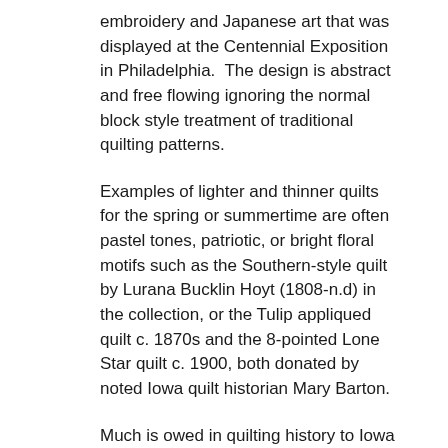embroidery and Japanese art that was displayed at the Centennial Exposition in Philadelphia.  The design is abstract and free flowing ignoring the normal block style treatment of traditional quilting patterns.
Examples of lighter and thinner quilts for the spring or summertime are often pastel tones, patriotic, or bright floral motifs such as the Southern-style quilt by Lurana Bucklin Hoyt (1808-n.d) in the collection, or the Tulip appliqued quilt c. 1870s and the 8-pointed Lone Star quilt c. 1900, both donated by noted Iowa quilt historian Mary Barton.
Much is owed in quilting history to Iowa quilt historian Mary Barton (1917–2003). The legacy and culmination of her life's work was the preservation of quilts and historic textiles, along with the information she collected about them. Beginning in the 1970s, she donated items from her personal collection to various organizations including: the Farm House Museum, the Textiles and Clothing Department at ISU, Living